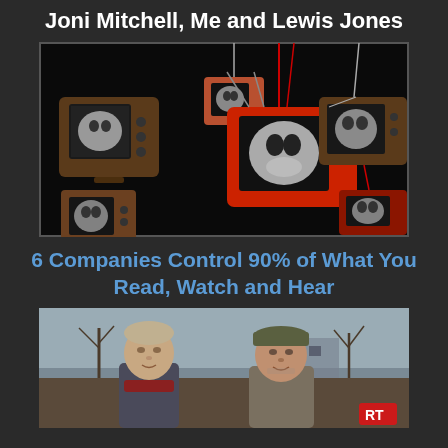Joni Mitchell, Me and Lewis Jones
[Figure (photo): Multiple vintage television sets hanging from the ceiling, each showing a pixelated black and white face image. Mix of brown, red and small TVs arranged artistically against a dark background.]
6 Companies Control 90% of What You Read, Watch and Hear
[Figure (photo): Two people outdoors in a bleak winter scene — an older woman with a scarf and a man in a military-style cap — being interviewed, with a small RT (Russia Today) logo visible in the bottom right corner.]